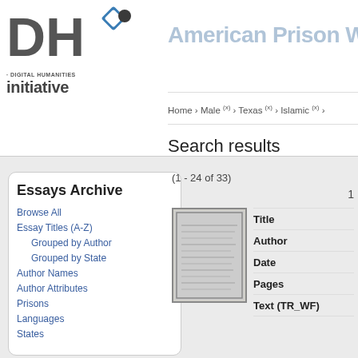[Figure (logo): Digital Humanities Initiative logo — DH with floppy disk and square icons, with 'DIGITAL HUMANITIES initiative' text]
American Prison Wr
Home › Male (x) › Texas (x) › Islamic (x) ›
Search results
(1 - 24 of 33)
Essays Archive
Browse All
Essay Titles (A-Z)
Grouped by Author
Grouped by State
Author Names
Author Attributes
Prisons
Languages
States
[Figure (photo): Thumbnail of a handwritten document page]
1
| Field | Value |
| --- | --- |
| Title |  |
| Author |  |
| Date |  |
| Pages |  |
| Text (TR_WF) |  |